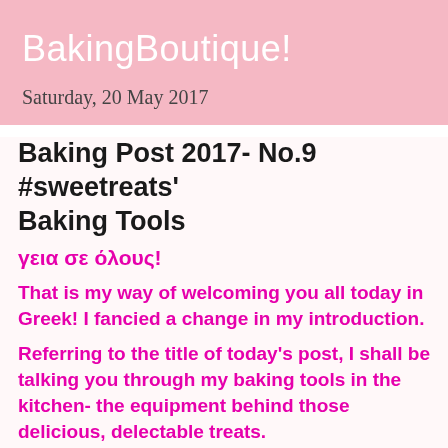BakingBoutique!
Saturday, 20 May 2017
Baking Post 2017- No.9 #sweetreats' Baking Tools
γεια σε όλους!
That is my way of welcoming you all today in Greek! I fancied a change in my introduction.
Referring to the title of today's post, I shall be talking you through my baking tools in the kitchen- the equipment behind those delicious, delectable treats.
Without anything else to say, let's leap right into this